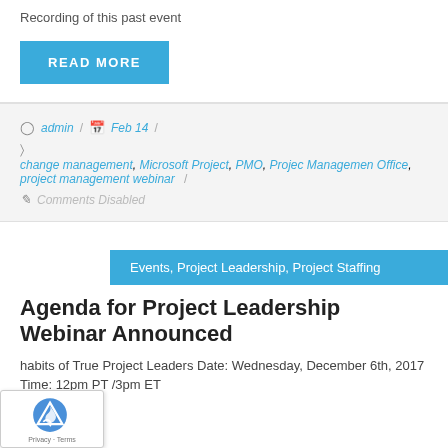Recording of this past event
READ MORE
admin / Feb 14 /
change management, Microsoft Project, PMO, Projec Managemen Office, project management webinar /
Comments Disabled
Events, Project Leadership, Project Staffing
Agenda for Project Leadership Webinar Announced
habits of True Project Leaders Date: Wednesday, December 6th, 2017 Time: 12pm PT /3pm ET